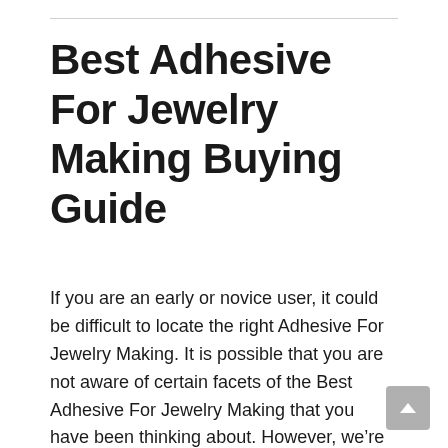Best Adhesive For Jewelry Making Buying Guide
If you are an early or novice user, it could be difficult to locate the right Adhesive For Jewelry Making. It is possible that you are not aware of certain facets of the Best Adhesive For Jewelry Making that you have been thinking about. However, we're here to assist you with that! The following suggestions might help you